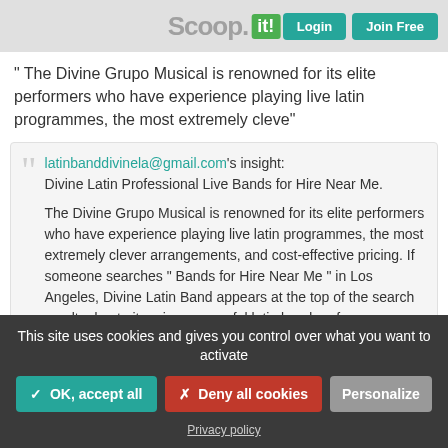Scoop it! | Login | Join Free
" The Divine Grupo Musical is renowned for its elite performers who have experience playing live latin programmes, the most extremely cleve"
latinbanddivinela@gmail.com's insight:
Divine Latin Professional Live Bands for Hire Near Me.

The Divine Grupo Musical is renowned for its elite performers who have experience playing live latin programmes, the most extremely clever arrangements, and cost-effective pricing. If someone searches " Bands for Hire Near Me " in Los Angeles, Divine Latin Band appears at the top of the search results due to its prior successful latin band performance. Overall, Divine Grupo Musical makes contributions to the best
This site uses cookies and gives you control over what you want to activate
✓ OK, accept all
✗ Deny all cookies
Personalize
Privacy policy